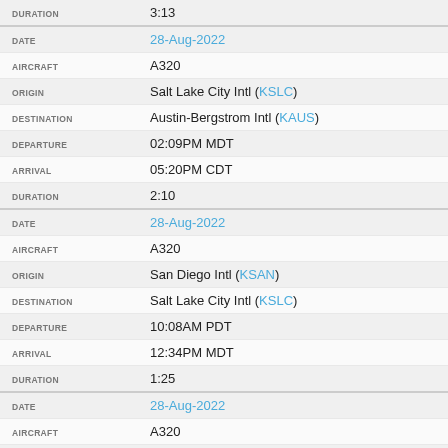| Field | Value |
| --- | --- |
| DURATION | 3:13 |
| DATE | 28-Aug-2022 |
| AIRCRAFT | A320 |
| ORIGIN | Salt Lake City Intl (KSLC) |
| DESTINATION | Austin-Bergstrom Intl (KAUS) |
| DEPARTURE | 02:09PM MDT |
| ARRIVAL | 05:20PM CDT |
| DURATION | 2:10 |
| DATE | 28-Aug-2022 |
| AIRCRAFT | A320 |
| ORIGIN | San Diego Intl (KSAN) |
| DESTINATION | Salt Lake City Intl (KSLC) |
| DEPARTURE | 10:08AM PDT |
| ARRIVAL | 12:34PM MDT |
| DURATION | 1:25 |
| DATE | 28-Aug-2022 |
| AIRCRAFT | A320 |
| ORIGIN | Salt Lake City Intl (KSLC) |
| DESTINATION | San Diego Intl (KSAN) |
| DEPARTURE | 08:17AM MDT |
| ARRIVAL | 09:43AM PDT |